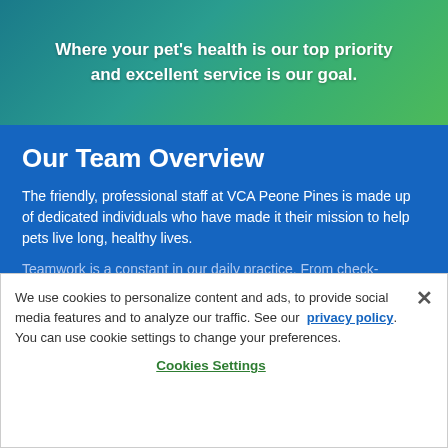Where your pet's health is our top priority and excellent service is our goal.
Our Team Overview
The friendly, professional staff at VCA Peone Pines is made up of dedicated individuals who have made it their mission to help pets live long, healthy lives.
Teamwork is a constant in our daily practice. From check-
We use cookies to personalize content and ads, to provide social media features and to analyze our traffic. See our privacy policy. You can use cookie settings to change your preferences.
Cookies Settings